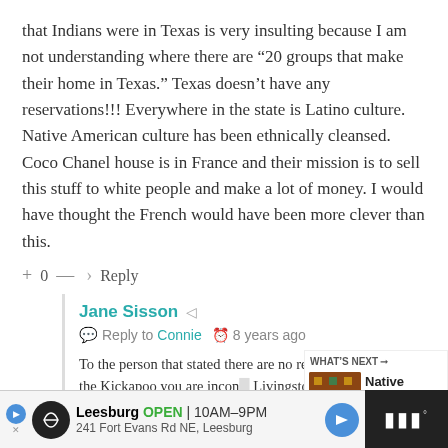that Indians were in Texas is very insulting because I am not understanding where there are “20 groups that make their home in Texas.” Texas doesn’t have any reservations!!! Everywhere in the state is Latino culture. Native American culture has been ethnically cleansed. Coco Chanel house is in France and their mission is to sell this stuff to white people and make a lot of money. I would have thought the French would have been more clever than this.
+ 0 —   ↳ Reply
Jane Sisson   Reply to Connie  ⏱ 8 years ago
To the person that stated there are no rese... the exception of the Kickapoo you are incon... Livingston Texas is where the Alabama tribe merged and
[Figure (screenshot): WHAT'S NEXT arrow label with thumbnail image of Native American beaded pattern and text 'Native American...']
[Figure (screenshot): Advertisement banner: Leesburg OPEN 10AM-9PM, 241 Fort Evans Rd NE, Leesburg with navigation icons]